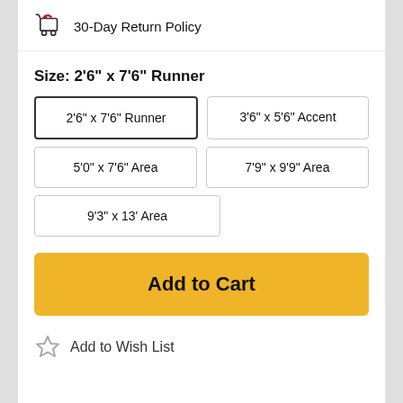30-Day Return Policy
Size: 2'6" x 7'6" Runner
2'6" x 7'6" Runner
3'6" x 5'6" Accent
5'0" x 7'6" Area
7'9" x 9'9" Area
9'3" x 13' Area
Add to Cart
Add to Wish List